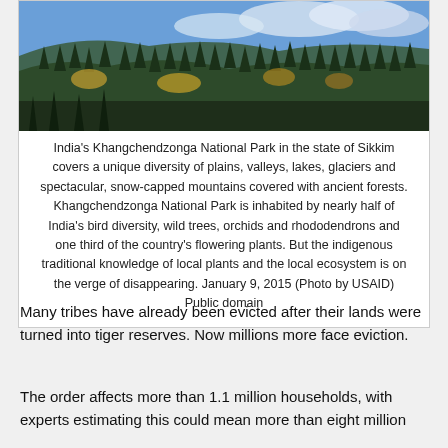[Figure (photo): Aerial/hillside view of Khangchendzonga National Park showing dense coniferous forest on slopes with blue sky and clouds in background]
India's Khangchendzonga National Park in the state of Sikkim covers a unique diversity of plains, valleys, lakes, glaciers and spectacular, snow-capped mountains covered with ancient forests. Khangchendzonga National Park is inhabited by nearly half of India's bird diversity, wild trees, orchids and rhododendrons and one third of the country's flowering plants. But the indigenous traditional knowledge of local plants and the local ecosystem is on the verge of disappearing. January 9, 2015 (Photo by USAID) Public domain
Many tribes have already been evicted after their lands were turned into tiger reserves. Now millions more face eviction.
The order affects more than 1.1 million households, with experts estimating this could mean more than eight million